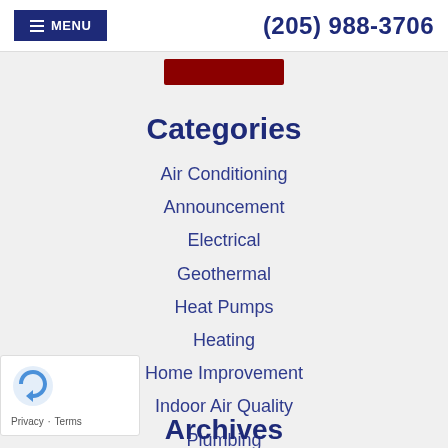MENU  (205) 988-3706
Categories
Air Conditioning
Announcement
Electrical
Geothermal
Heat Pumps
Heating
Home Improvement
Indoor Air Quality
Plumbing
Uncategorized
Water Heaters
Archives